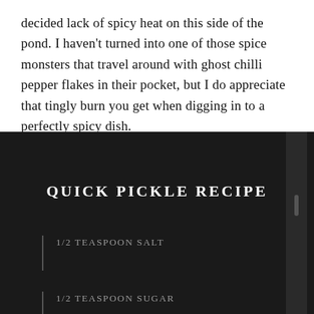decided lack of spicy heat on this side of the pond. I haven't turned into one of those spice monsters that travel around with ghost chilli pepper flakes in their pocket, but I do appreciate that tingly burn you get when digging in to a perfectly spicy dish.
QUICK PICKLE RECIPE
1/2 TEASPOON SALT
1/2 TEASPOON SUGAR